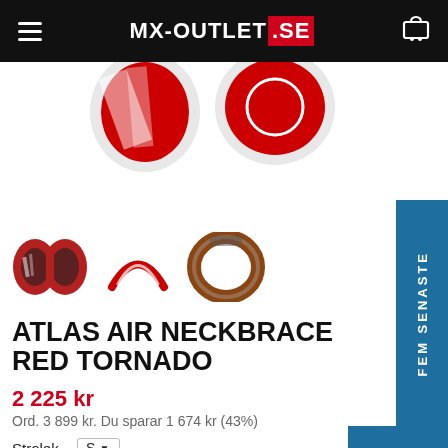MX-OUTLET.SE
[Figure (photo): Product images of Atlas Air Neckbrace Red Tornado — main large image partially visible at top, three smaller thumbnail images below]
ATLAS AIR NECKBRACE RED TORNADO
2 225 kr
Ord. 3 899 kr. Du sparar 1 674 kr (43%)
Strolek  S
Finns i lager